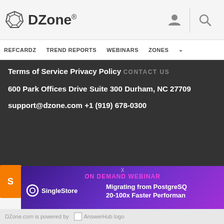DZone
REFCARDZ   TREND REPORTS   WEBINARS   ZONES
Terms of Service
Privacy Policy
CONTACT US
600 Park Offices Drive
Suite 300
Durham, NC 27709
support@dzone.com
+1 (919) 678-0300
[Figure (screenshot): Advertisement banner for SingleStore - On Demand Webinar: Migrating from PostgreSQL 20-100x Faster Performance]
DZone.com is powered by AnswerHub logo